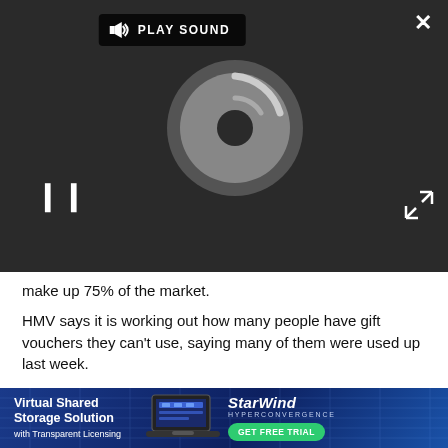[Figure (screenshot): Video player overlay with dark background, loading spinner, play sound button, pause icon, close button, and expand button]
make up 75% of the market.
HMV says it is working out how many people have gift vouchers they can't use, saying many of them were used up last week.
Published 14.01.13: A statement from the HMV board has confirmed HMV is going in to administration.
"The Board regrets to announce that it has been unable to reach a position where it feels able to
[Figure (other): Advertisement banner for StarWind Virtual Shared Storage Solution with Transparent Licensing - GET FREE TRIAL]